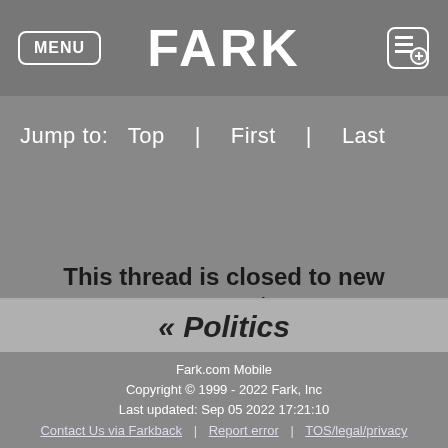MENU | FARK
Jump to:  Top  |  First  |  Last
This thread is closed to new comments.
« Politics
Fark.com Mobile
Copyright © 1999 - 2022 Fark, Inc
Last updated: Sep 05 2022 17:21:10
Contact Us via Farkback | Report error | TOS/legal/privacy
Do Not Sell My Personal Information
Full site